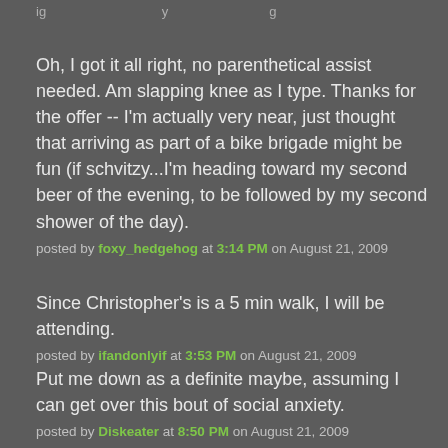ig  y  g
Oh, I got it all right, no parenthetical assist needed. Am slapping knee as I type. Thanks for the offer -- I'm actually very near, just thought that arriving as part of a bike brigade might be fun (if schvitzy...I'm heading toward my second beer of the evening, to be followed by my second shower of the day).
posted by foxy_hedgehog at 3:14 PM on August 21, 2009
Since Christopher's is a 5 min walk, I will be attending.
posted by ifandonlyif at 3:53 PM on August 21, 2009
Put me down as a definite maybe, assuming I can get over this bout of social anxiety.
posted by Diskeater at 8:50 PM on August 21, 2009